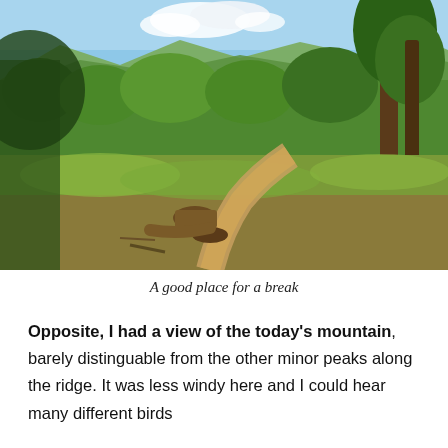[Figure (photo): Outdoor mountain trail photo showing a winding dirt path through a cleared area with tree stumps and brush, surrounded by green trees and forested hills in the background under a partly cloudy blue sky.]
A good place for a break
Opposite, I had a view of the today's mountain, barely distinguable from the other minor peaks along the ridge. It was less windy here and I could hear many different birds